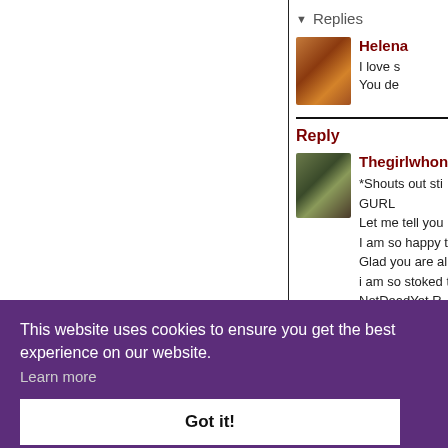Replies
Helena
I love s
You de
Reply
Thegirlwhonev
*Shouts out sti
GURL
Let me tell you
I am so happy t
Glad you are al
i am so stoked t
NotDeadYet R
Reply
This website uses cookies to ensure you get the best experience on our website.
Learn more
Got it!